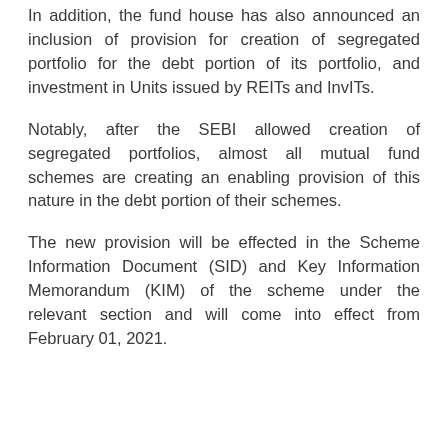In addition, the fund house has also announced an inclusion of provision for creation of segregated portfolio for the debt portion of its portfolio, and investment in Units issued by REITs and InvITs.
Notably, after the SEBI allowed creation of segregated portfolios, almost all mutual fund schemes are creating an enabling provision of this nature in the debt portion of their schemes.
The new provision will be effected in the Scheme Information Document (SID) and Key Information Memorandum (KIM) of the scheme under the relevant section and will come into effect from February 01, 2021.